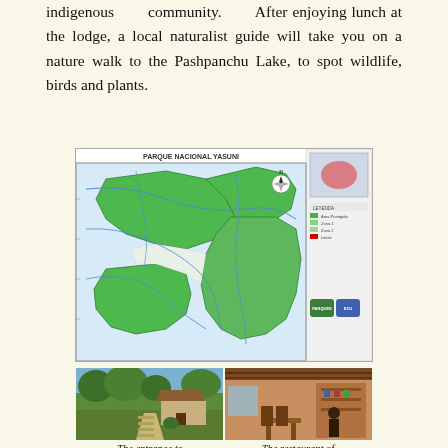indigenous community. After enjoying lunch at the lodge, a local naturalist guide will take you on a nature walk to the Pashpanchu Lake, to spot wildlife, birds and plants.
[Figure (map): Map of Parque Nacional Yasuni showing green highlighted areas representing the national park boundaries with rivers and legend on the right side.]
[Figure (photo): Two photos side by side: left shows the entrance to a lodge with a thatched-roof building and green garden path; right shows the restaurant interior of the lodge with wooden furniture.]
The entrance to the Pachacamac The restaurant of the Pachacamac